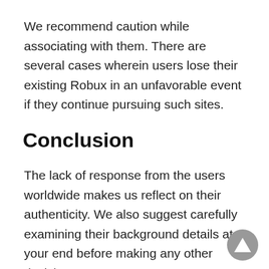We recommend caution while associating with them. There are several cases wherein users lose their existing Robux in an unfavorable event if they continue pursuing such sites.
Conclusion
The lack of response from the users worldwide makes us reflect on their authenticity. We also suggest carefully examining their background details at your end before making any other decision.